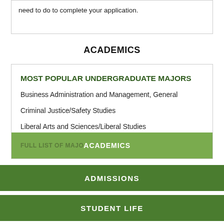need to do to complete your application.
ACADEMICS
MOST POPULAR UNDERGRADUATE MAJORS
Business Administration and Management, General
Criminal Justice/Safety Studies
Liberal Arts and Sciences/Liberal Studies
Communication and Media Studies, Other
Hospitality Administration/Management, General
FULL LIST OF MAJORS  ACADEMICS
ADMISSIONS
STUDENT LIFE